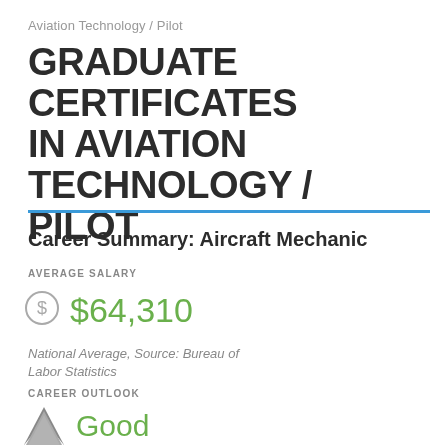Aviation Technology / Pilot
GRADUATE CERTIFICATES IN AVIATION TECHNOLOGY / PILOT
Career Summary: Aircraft Mechanic
AVERAGE SALARY
$64,310
National Average, Source: Bureau of Labor Statistics
CAREER OUTLOOK
Good